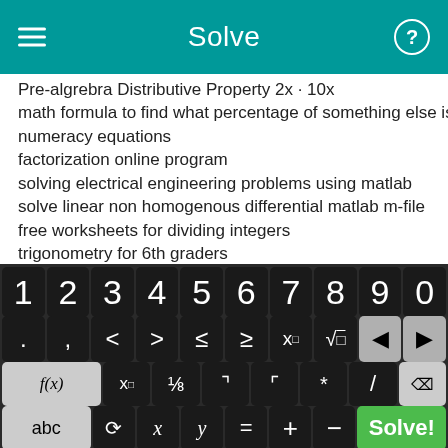Solve
Pre-algrebra Distributive Property 2x · 10x
math formula to find what percentage of something else is
numeracy equations
factorization online program
solving electrical engineering problems using matlab
solve linear non homogenous differential matlab m-file
free worksheets for dividing integers
trigonometry for 6th graders
Equation Write App TI-89
printable ratio game
[Figure (screenshot): Calculator keyboard with digits 1-0, mathematical symbols including <, >, ≤, ≥, x^□, √□, backspace arrows, f(x), x subscript, fraction, absolute value, parentheses, multiply, divide, delete buttons, and bottom row with abc, rotation symbol, x, y, =, +, -, and green Solve! button]